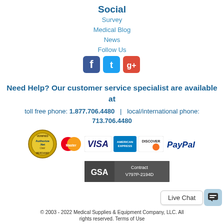Social
Survey
Medical Blog
News
Follow Us
[Figure (other): Social media icons: Facebook, Twitter, Google+]
Need Help? Our customer service specialist are available at
toll free phone: 1.877.706.4480   |   local/international phone: 713.706.4480
[Figure (other): Trust badges: Authorize.Net Verified Merchant, MasterCard, Visa, American Express, Discover, PayPal]
[Figure (other): GSA Contract V797P-2194D badge]
[Figure (other): Live Chat button]
© 2003 - 2022 Medical Supplies & Equipment Company, LLC. All rights reserved. Terms of Use